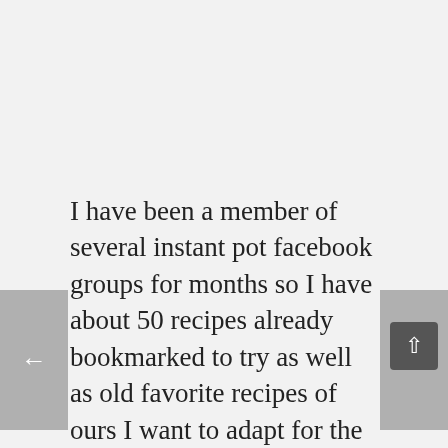[Figure (screenshot): Left navigation arrow button (grey rectangle with white left-pointing arrow)]
[Figure (screenshot): Right navigation arrow button (grey rectangle with white right-pointing arrow, partially cropped)]
[Figure (screenshot): Scroll-to-top button (dark grey square with white upward arrow)]
I have been a member of several instant pot facebook groups for months so I have about 50 recipes already bookmarked to try as well as old favorite recipes of ours I want to adapt for the